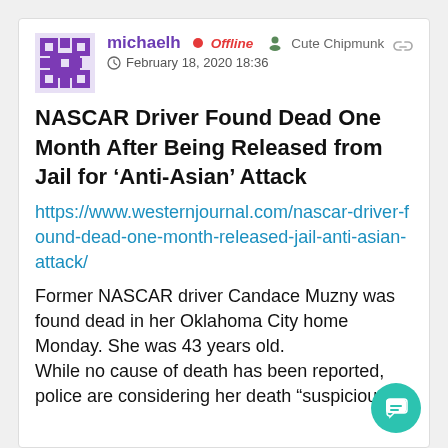michaelh | Offline | Cute Chipmunk | February 18, 2020 18:36
NASCAR Driver Found Dead One Month After Being Released from Jail for ‘Anti-Asian’ Attack
https://www.westernjournal.com/nascar-driver-found-dead-one-month-released-jail-anti-asian-attack/
Former NASCAR driver Candace Muzny was found dead in her Oklahoma City home Monday. She was 43 years old.
While no cause of death has been reported, police are considering her death “suspicious,”